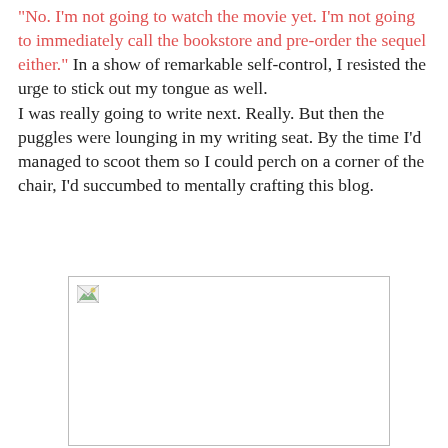“No. I’m not going to watch the movie yet. I’m not going to immediately call the bookstore and pre-order the sequel either.” In a show of remarkable self-control, I resisted the urge to stick out my tongue as well.
I was really going to write next. Really. But then the puggles were lounging in my writing seat. By the time I’d managed to scoot them so I could perch on a corner of the chair, I’d succumbed to mentally crafting this blog.
[Figure (photo): A placeholder image box with a broken image icon in the top-left corner, representing an embedded photo that failed to load.]